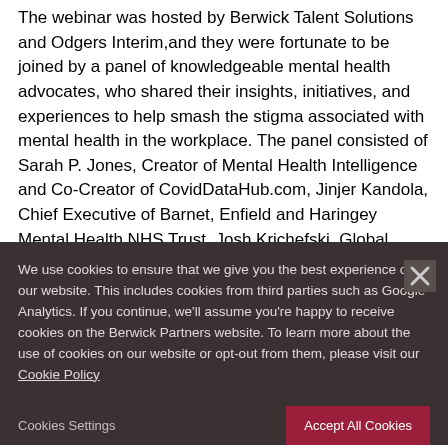The webinar was hosted by Berwick Talent Solutions and Odgers Interim,and they were fortunate to be joined by a panel of knowledgeable mental health advocates, who shared their insights, initiatives, and experiences to help smash the stigma associated with mental health in the workplace. The panel consisted of Sarah P. Jones, Creator of Mental Health Intelligence and Co-Creator of CovidDataHub.com, Jinjer Kandola, Chief Executive of Barnet, Enfield and Haringey Mental Health NHS Trust, Josh Krichefski, Global COO and CEO EMEA at MediaCom, and Briony Robinson, the Co-Chair of 4Mind
We use cookies to ensure that we give you the best experience on our website. This includes cookies from third parties such as Google Analytics. If you continue, we'll assume you're happy to receive cookies on the Berwick Partners website. To learn more about the use of cookies on our website or opt-out from them, please visit our Cookie Policy
Cookies Settings
Accept All Cookies